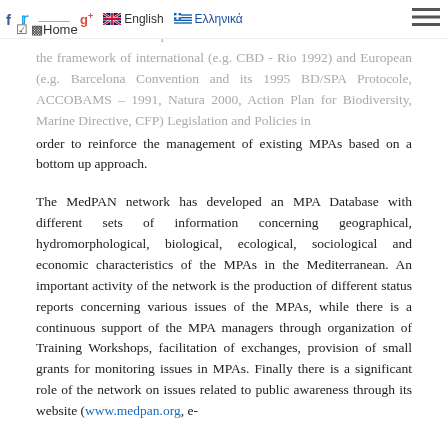Home | English | Ελληνικά | [social icons: f, twitter, rss, g+]
common initiatives across the Mediterranean Sea for an Ecological Network of MPAs and perform concrete actions in the framework of international (e.g. CBD - Rio 1992) and European (e.g. Barcelona Convention and its 1995 BD/SPA Protocole, ACCOBAMS – 1991, Natura 2000, Action Plan for Biodiversity, Marine Directive, CFP) Legislation and Policies in order to reinforce the management of existing MPAs based on a bottom up approach.
The MedPAN network has developed an MPA Database with different sets of information concerning geographical, hydromorphological, biological, ecological, sociological and economic characteristics of the MPAs in the Mediterranean. An important activity of the network is the production of different status reports concerning various issues of the MPAs, while there is a continuous support of the MPA managers through organization of Training Workshops, facilitation of exchanges, provision of small grants for monitoring issues in MPAs. Finally there is a significant role of the network on issues related to public awareness through its website (www.medpan.org, e-